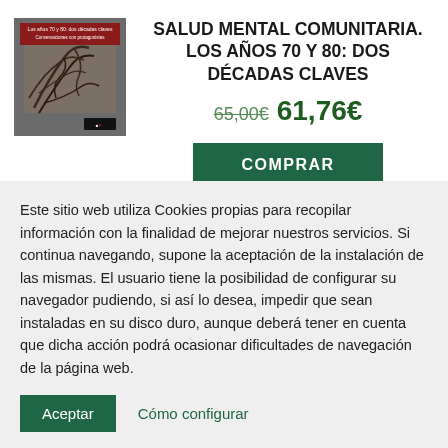[Figure (photo): Book cover for 'Salud Mental Comunitaria. Los Años 70 y 80: Dos Décadas Claves'. Shows a dark moody image with tangled branches/roots on a grey background. Small red banner with white text at top: 'Los años 70 y 80: dos décadas claves Conversaciones con protagonistas'. Publisher logo at bottom right.]
SALUD MENTAL COMUNITARIA. LOS AÑOS 70 Y 80: DOS DÉCADAS CLAVES
65,00€  61,76€
COMPRAR
Este sitio web utiliza Cookies propias para recopilar información con la finalidad de mejorar nuestros servicios. Si continua navegando, supone la aceptación de la instalación de las mismas. El usuario tiene la posibilidad de configurar su navegador pudiendo, si así lo desea, impedir que sean instaladas en su disco duro, aunque deberá tener en cuenta que dicha acción podrá ocasionar dificultades de navegación de la página web.
Aceptar   Cómo configurar